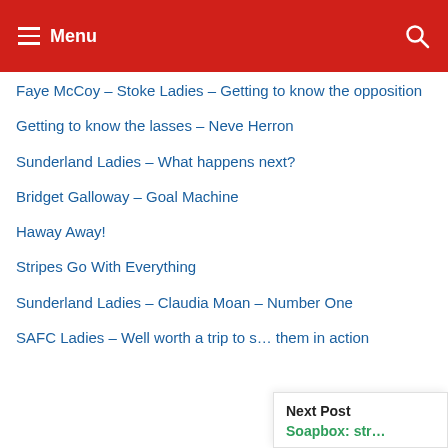Menu
Faye McCoy – Stoke Ladies – Getting to know the opposition
Getting to know the lasses – Neve Herron
Sunderland Ladies – What happens next?
Bridget Galloway – Goal Machine
Haway Away!
Stripes Go With Everything
Sunderland Ladies – Claudia Moan – Number One
SAFC Ladies – Well worth a trip to s… them in action
Next Post
Soapbox: str…